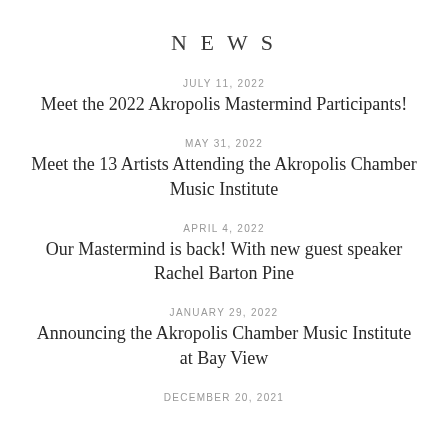NEWS
JULY 11, 2022
Meet the 2022 Akropolis Mastermind Participants!
MAY 31, 2022
Meet the 13 Artists Attending the Akropolis Chamber Music Institute
APRIL 4, 2022
Our Mastermind is back! With new guest speaker Rachel Barton Pine
JANUARY 29, 2022
Announcing the Akropolis Chamber Music Institute at Bay View
DECEMBER 20, 2021